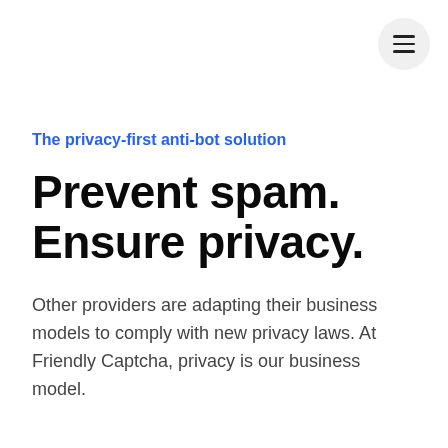[Figure (other): Hamburger menu button in a circular grey background, top-right corner]
The privacy-first anti-bot solution
Prevent spam. Ensure privacy.
Other providers are adapting their business models to comply with new privacy laws. At Friendly Captcha, privacy is our business model.